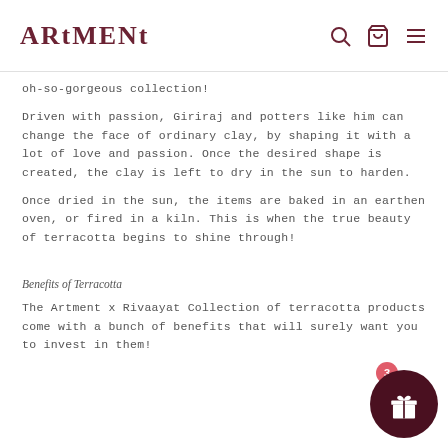ARTMENT
oh-so-gorgeous collection!
Driven with passion, Giriraj and potters like him can change the face of ordinary clay, by shaping it with a lot of love and passion. Once the desired shape is created, the clay is left to dry in the sun to harden.
Once dried in the sun, the items are baked in an earthen oven, or fired in a kiln. This is when the true beauty of terracotta begins to shine through!
Benefits of Terracotta
The Artment x Rivaayat Collection of terracotta products come with a bunch of benefits that will surely want you to invest in them!